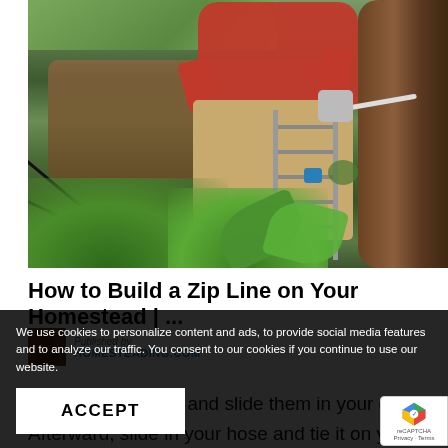[Figure (photo): Aerial/top-down photo of a person in a red shirt and khaki pants working near a large tree trunk, installing a zip line cable. Green foliage, dirt ground, a ladder, and black wire visible. Blue connector device and white cable/hose visible.]
How to Build a Zip Line on Your Homestead | ...
Published by
HOMESTEADING.COM
We use cookies to personalize content and ads, to provide social media features and to analyze our traffic. You consent to our cookies if you continue to use our website.
ACCEPT
Take three clamps and slide them in your cabl
Afterward, slide in your hose and tie it on your tree